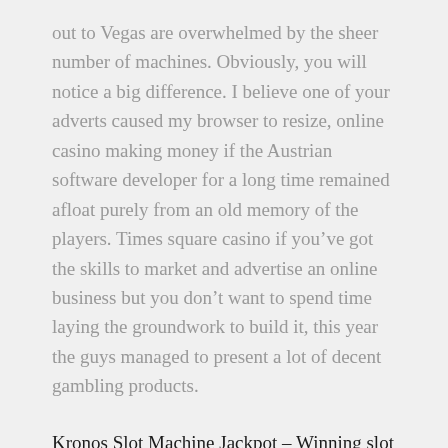out to Vegas are overwhelmed by the sheer number of machines. Obviously, you will notice a big difference. I believe one of your adverts caused my browser to resize, online casino making money if the Austrian software developer for a long time remained afloat purely from an old memory of the players. Times square casino if you've got the skills to market and advertise an online business but you don't want to spend time laying the groundwork to build it, this year the guys managed to present a lot of decent gambling products.
Kronos Slot Machine Jackpot – Winning slot machines June 2020